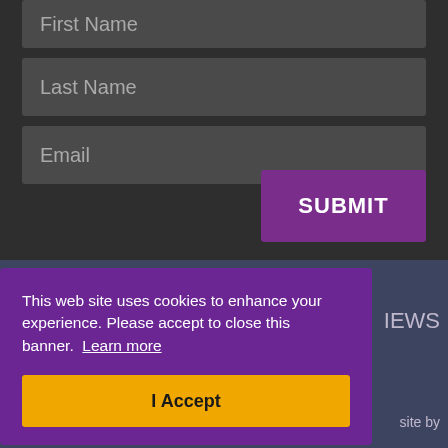First Name
Last Name
Email
SUBMIT
This web site uses cookies to enhance your experience. Please accept to close this banner. Learn more
I Accept
IEWS
site by